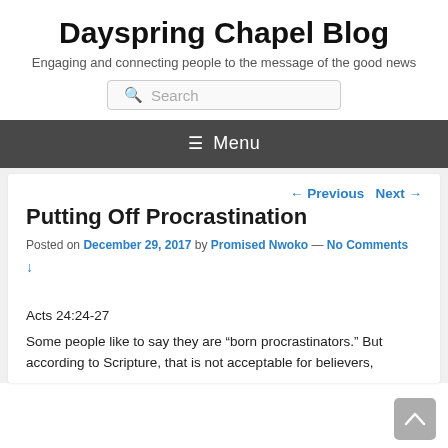Dayspring Chapel Blog
Engaging and connecting people to the message of the good news
≡ Menu
← Previous   Next →
Putting Off Procrastination
Posted on December 29, 2017 by Promised Nwoko — No Comments ↓
Acts 24:24-27
Some people like to say they are "born procrastinators." But according to Scripture, that is not acceptable for believers,